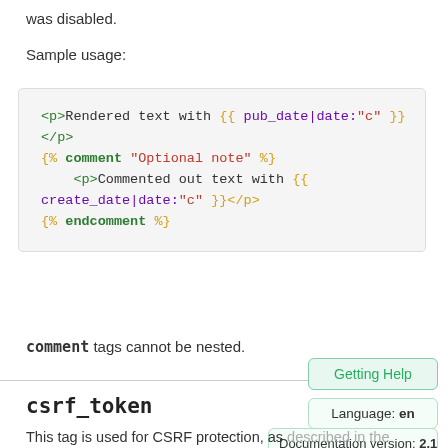was disabled.
Sample usage:
<p>Rendered text with {{ pub_date|date:"c" }}</p>
{% comment "Optional note" %}
    <p>Commented out text with {{
create_date|date:"c" }}</p>
{% endcomment %}
comment tags cannot be nested.
csrf_token
This tag is used for CSRF protection, as described in the documentation for Cross Site Request